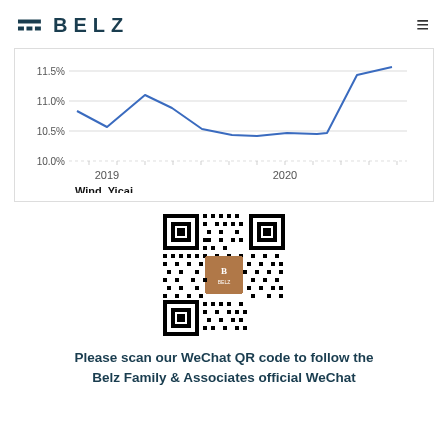BELZ
[Figure (continuous-plot): Line chart showing a percentage metric (y-axis 10.0% to 11.5%) over 2019 to 2020 time period. Source: Wind, Yicai]
Wind, Yicai
[Figure (other): WeChat QR code for Belz Family & Associates official WeChat account]
Please scan our WeChat QR code to follow the Belz Family & Associates official WeChat